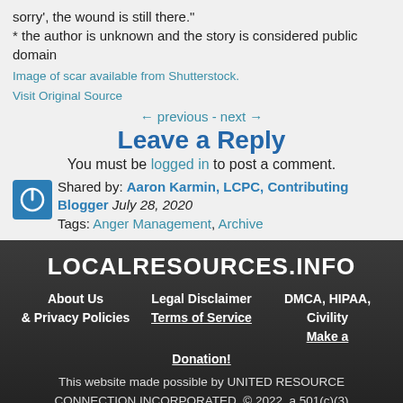sorry', the wound is still there."
* the author is unknown and the story is considered public domain
Image of scar available from Shutterstock.
Visit Original Source
← previous - next →
Leave a Reply
You must be logged in to post a comment.
Shared by: Aaron Karmin, LCPC, Contributing Blogger July 28, 2020
Tags: Anger Management, Archive
LOCALRESOURCES.INFO
About Us  &  Privacy Policies   Legal Disclaimer  Terms of Service   DMCA, HIPAA, Civility  Make a Donation!
This website made possible by UNITED RESOURCE CONNECTION INCORPORATED, © 2022, a 501(c)(3) nonprofit organization.
► We Build Social Service Collaborative Culture. Help Us Spread to More Communities